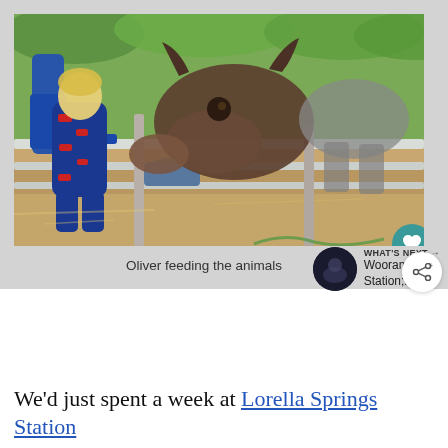[Figure (photo): A young child in blue pajamas with red fire truck print feeding a brown animal (likely a miniature donkey or calf) through a white fence rail. An adult stands behind the child. Trees are visible in the background. A teal/green circular heart button and white circular share button overlay the bottom-right of the image.]
Oliver feeding the animals
WHAT'S NEXT → Wooramel Station;...
We'd just spent a week at Lorella Springs Station